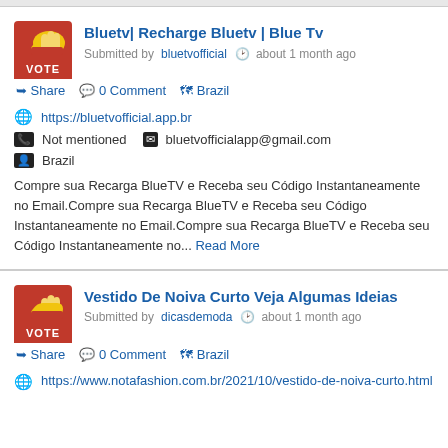Bluetv| Recharge Bluetv | Blue Tv
Submitted by bluetvofficial  about 1 month ago
Share  0 Comment  Brazil
https://bluetvofficial.app.br
Not mentioned    bluetvofficialapp@gmail.com
Brazil
Compre sua Recarga BlueTV e Receba seu Código Instantaneamente no Email.Compre sua Recarga BlueTV e Receba seu Código Instantaneamente no Email.Compre sua Recarga BlueTV e Receba seu Código Instantaneamente no... Read More
Vestido De Noiva Curto Veja Algumas Ideias
Submitted by dicasdemoda  about 1 month ago
Share  0 Comment  Brazil
https://www.notafashion.com.br/2021/10/vestido-de-noiva-curto.html